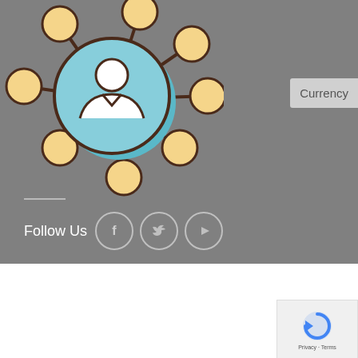[Figure (illustration): Network/referral icon: a central blue circle with a person/user silhouette, connected by dark lines to 8 surrounding golden/yellow circles arranged like a hub-and-spoke diagram, on a gray background.]
Currency
Follow Us
[Figure (illustration): Social media icons: Facebook (f), Twitter (bird), YouTube (play button), each in a light circular outline border.]
[Figure (logo): YOCO payment logo - black rounded rectangle with white YOCO text and registered trademark symbol]
[Figure (logo): VISA payment logo in black italic text]
[Figure (logo): MasterCard logo - two overlapping black circles with MasterCard text]
[Figure (logo): Bank Transfer logo partially visible - black semicircle with BA and TRAN text visible]
[Figure (illustration): Google reCAPTCHA widget with Privacy and Terms links]
ABOUT   CONTACT   TEACHINGS   TERMS AND CONDITIONS